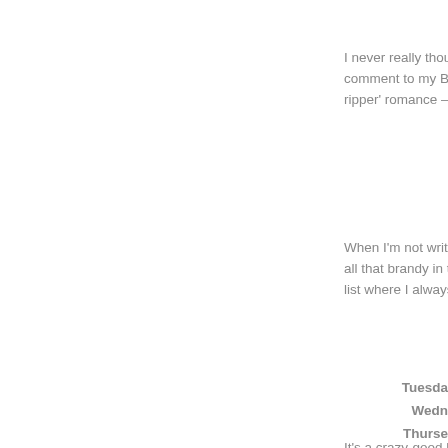I never really thought about writing a romance nove comment to my BFF, Sharon, she challenged me to ripper' romance – and yes, I still have it!
When I'm not writing I can be found in my kitchen. I all that brandy in the fruit has something to do with i list where I always seem to be at least three books b
It's a crazy-good life, and I wouldn't change it for an
http://www.carlasmithauthor.com/index.html
[Figure (logo): Facebook icon - dark grey circular Facebook logo]
Tuesday
Wedne
Thurse